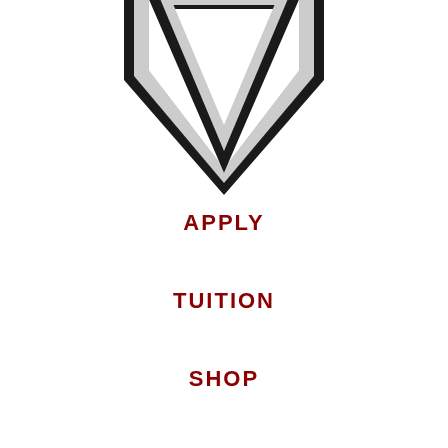[Figure (logo): Shield/crest logo partially visible at top of page — white shield with dark gray/black V-shaped chevron outline pointing downward, cropped at top]
APPLY
TUITION
SHOP
BLOG
FACEBOOK